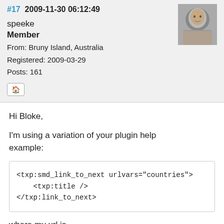#17  2009-11-30 06:12:49
speeke
Member
From: Bruny Island, Australia
Registered: 2009-03-29
Posts: 161
Hi Bloke,
I'm using a variation of your plugin help example:
<txp:smd_link_to_next urlvars="countries">
    <txp:title />
</txp:link_to_next>
where my url is